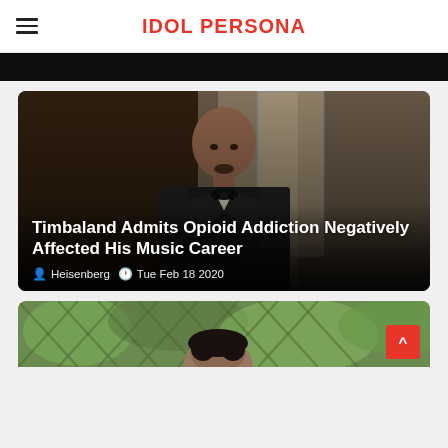IDOL PERSONA
[Figure (photo): Dark/black image strip at the top of the page, partial view of a prior article image]
[Figure (photo): Photo of Timbaland in a black tuxedo with bow tie, standing in what appears to be a bathroom/dressing room, looking at the camera. The image has a dark brown/moody tone.]
Timbaland Admits Opioid Addiction Negatively Affected His Music Career
Heisenberg   Tue Feb 18 2020
[Figure (photo): Partial view of a man with dark hair, green foliage background — bottom card partially visible]